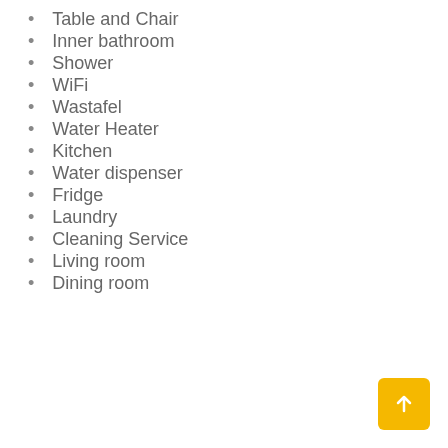Table and Chair
Inner bathroom
Shower
WiFi
Wastafel
Water Heater
Kitchen
Water dispenser
Fridge
Laundry
Cleaning Service
Living room
Dining room